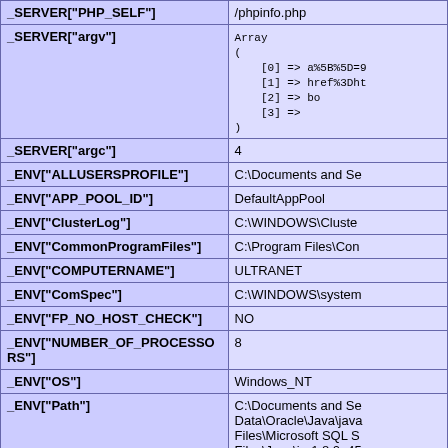| Variable | Value |
| --- | --- |
| _SERVER["PHP_SELF"] | /phpinfo.php |
| _SERVER["argv"] | Array
(
    [0] => a%5B%5D=9
    [1] => href%3Dht
    [2] => bo
    [3] =>
) |
| _SERVER["argc"] | 4 |
| _ENV["ALLUSERSPROFILE"] | C:\Documents and Se |
| _ENV["APP_POOL_ID"] | DefaultAppPool |
| _ENV["ClusterLog"] | C:\WINDOWS\Cluste |
| _ENV["CommonProgramFiles"] | C:\Program Files\Con |
| _ENV["COMPUTERNAME"] | ULTRANET |
| _ENV["ComSpec"] | C:\WINDOWS\system |
| _ENV["FP_NO_HOST_CHECK"] | NO |
| _ENV["NUMBER_OF_PROCESSORS"] | 8 |
| _ENV["OS"] | Windows_NT |
| _ENV["Path"] | C:\Documents and Se
Data\Oracle\Java\java
Files\Microsoft SQL S
Files\Java\jre1.8.0_45 |
| _ENV["PATHEXT"] | .COM;.EXE;.BAT;.CM |
| _ENV["PROCESSOR_ARCHITECTURE"] | x86 |
| _ENV["PROCESSOR_IDENTIFIER"] | x86 Family 6 Model 2 |